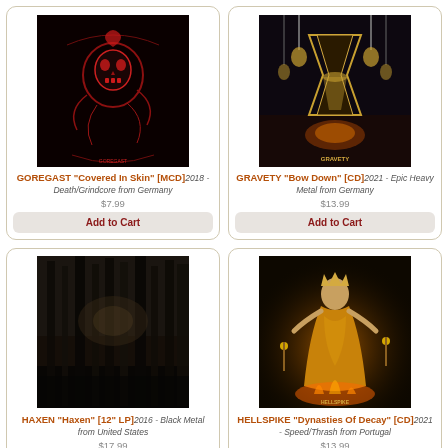[Figure (illustration): GOREGAST Covered In Skin album cover - dark red illustration on black background]
GOREGAST "Covered In Skin" [MCD]2018 - Death/Grindcore from Germany
$7.99
Add to Cart
[Figure (illustration): GRAVETY Bow Down album cover - dark fantasy heavy metal artwork]
GRAVETY "Bow Down" [CD]2021 - Epic Heavy Metal from Germany
$13.99
Add to Cart
[Figure (photo): HAXEN album cover - dark forest photo with tall trees]
HAXEN "Haxen" [12" LP]2016 - Black Metal from United States
$17.99
Add to Cart
[Figure (illustration): HELLSPIKE Dynasties Of Decay album cover - golden fantasy figure with fire]
HELLSPIKE "Dynasties Of Decay" [CD]2021 - Speed/Thrash from Portugal
$13.99
Add to Cart